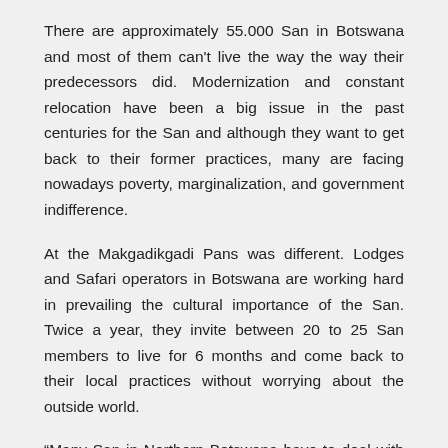There are approximately 55.000 San in Botswana and most of them can't live the way the way their predecessors did. Modernization and constant relocation have been a big issue in the past centuries for the San and although they want to get back to their former practices, many are facing nowadays poverty, marginalization, and government indifference.
At the Makgadikgadi Pans was different. Lodges and Safari operators in Botswana are working hard in prevailing the cultural importance of the San. Twice a year, they invite between 20 to 25 San members to live for 6 months and come back to their local practices without worrying about the outside world.
“Many San in Northern Botswana have to deal with modern practices like working for money and paying for services. Here at the camp premises we offer them the